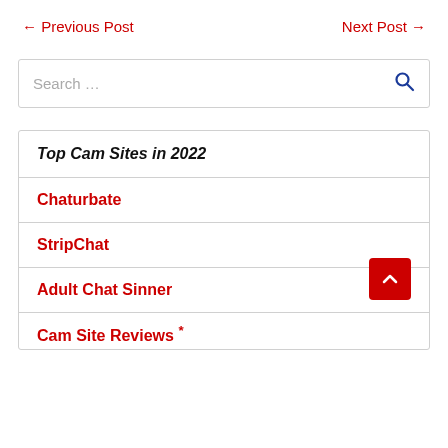← Previous Post    Next Post →
Search …
Top Cam Sites in 2022
Chaturbate
StripChat
Adult Chat Sinner
Cam Site Reviews *